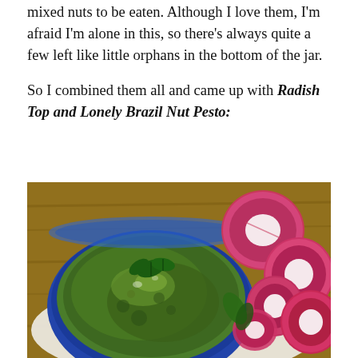mixed nuts to be eaten. Although I love them, I'm afraid I'm alone in this, so there's always quite a few left like little orphans in the bottom of the jar.
So I combined them all and came up with Radish Top and Lonely Brazil Nut Pesto:
[Figure (photo): A blue ceramic bowl filled with green pesto (radish top and brazil nut pesto) garnished with fresh basil leaves and olive oil, surrounded by sliced radishes arranged on a white plate on a wooden surface.]